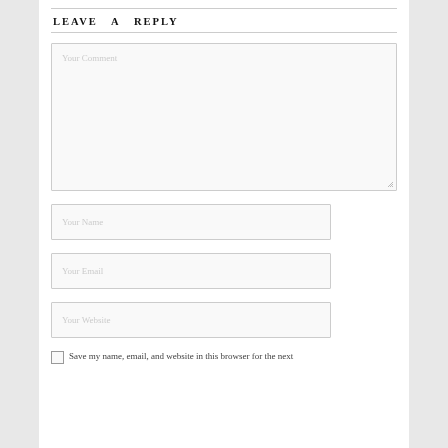LEAVE A REPLY
[Figure (screenshot): Web comment form with fields: Your Comment (large textarea), Your Name (text input), Your Email (text input), Your Website (text input), and a Save my name checkbox.]
Save my name, email, and website in this browser for the next